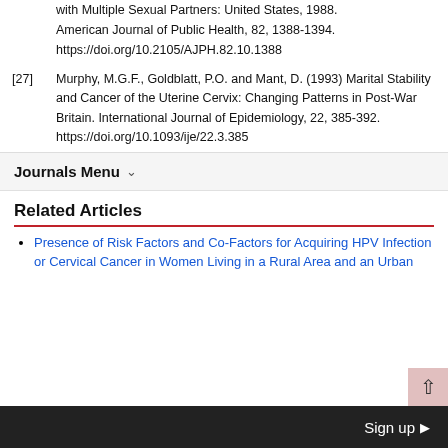with Multiple Sexual Partners: United States, 1988. American Journal of Public Health, 82, 1388-1394. https://doi.org/10.2105/AJPH.82.10.1388
[27] Murphy, M.G.F., Goldblatt, P.O. and Mant, D. (1993) Marital Stability and Cancer of the Uterine Cervix: Changing Patterns in Post-War Britain. International Journal of Epidemiology, 22, 385-392. https://doi.org/10.1093/ije/22.3.385
Journals Menu
Related Articles
Presence of Risk Factors and Co-Factors for Acquiring HPV Infection or Cervical Cancer in Women Living in a Rural Area and an Urban